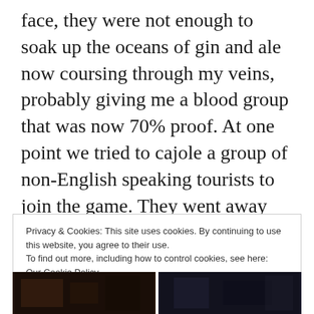face, they were not enough to soak up the oceans of gin and ale now coursing through my veins, probably giving me a blood group that was now 70% proof. At one point we tried to cajole a group of non-English speaking tourists to join the game. They went away quite swiftly.
Privacy & Cookies: This site uses cookies. By continuing to use this website, you agree to their use.
To find out more, including how to control cookies, see here:
Our Cookie Policy
[Figure (photo): Two dark photographs at the bottom of the page, side by side]